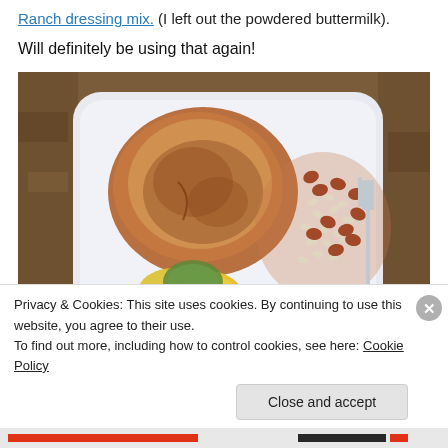Ranch dressing mix. (I left out the powdered buttermilk). Will definitely be using that again!
[Figure (photo): A white square plate with a seasoned baked chicken breast, yellow squash and zucchini rounds, and a side of red beans and rice with a fork, on a granite countertop.]
Privacy & Cookies: This site uses cookies. By continuing to use this website, you agree to their use. To find out more, including how to control cookies, see here: Cookie Policy
Close and accept